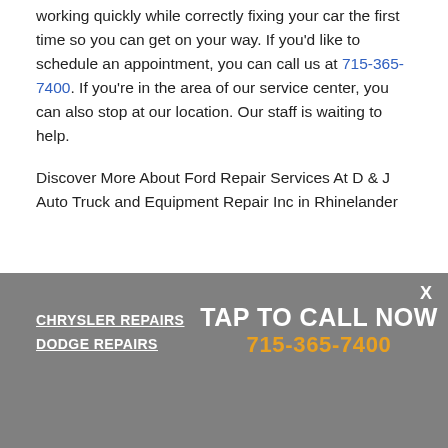working quickly while correctly fixing your car the first time so you can get on your way. If you'd like to schedule an appointment, you can call us at 715-365-7400. If you're in the area of our service center, you can also stop at our location. Our staff is waiting to help.
Discover More About Ford Repair Services At D & J Auto Truck and Equipment Repair Inc in Rhinelander
CHRYSLER REPAIRS
DODGE REPAIRS
TAP TO CALL NOW
715-365-7400